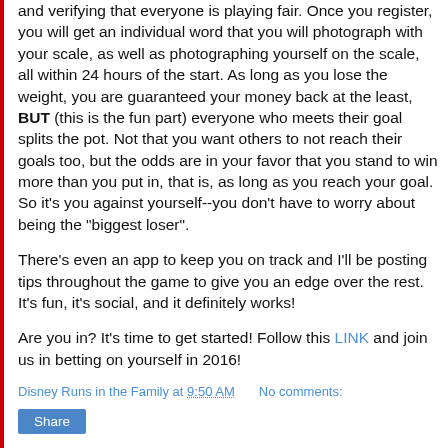and verifying that everyone is playing fair. Once you register, you will get an individual word that you will photograph with your scale, as well as photographing yourself on the scale, all within 24 hours of the start. As long as you lose the weight, you are guaranteed your money back at the least, BUT (this is the fun part) everyone who meets their goal splits the pot. Not that you want others to not reach their goals too, but the odds are in your favor that you stand to win more than you put in, that is, as long as you reach your goal. So it's you against yourself--you don't have to worry about being the "biggest loser".
There's even an app to keep you on track and I'll be posting tips throughout the game to give you an edge over the rest. It's fun, it's social, and it definitely works!
Are you in? It's time to get started! Follow this LINK and join us in betting on yourself in 2016!
Disney Runs in the Family at 9:50 AM    No comments:
Share